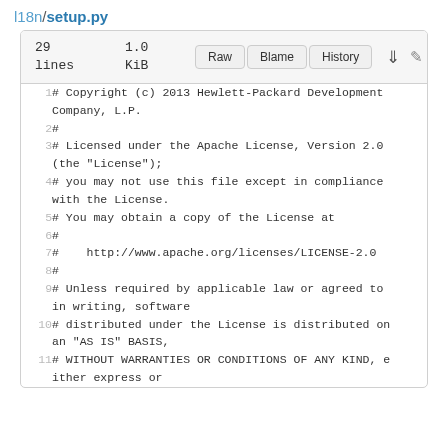l18n/setup.py
29 lines | 1.0 KiB | Raw | Blame | History
1  # Copyright (c) 2013 Hewlett-Packard Development Company, L.P.
2  #
3  # Licensed under the Apache License, Version 2.0 (the "License");
4  # you may not use this file except in compliance with the License.
5  # You may obtain a copy of the License at
6  #
7  #    http://www.apache.org/licenses/LICENSE-2.0
8  #
9  # Unless required by applicable law or agreed to in writing, software
10 # distributed under the License is distributed on an "AS IS" BASIS,
11 # WITHOUT WARRANTIES OR CONDITIONS OF ANY KIND, e ither express or